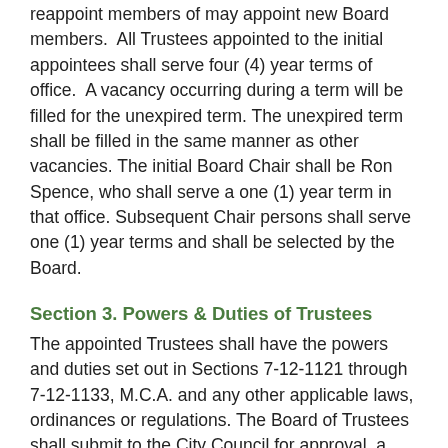reappoint members of may appoint new Board members.  All Trustees appointed to the initial appointees shall serve four (4) year terms of office.  A vacancy occurring during a term will be filled for the unexpired term. The unexpired term shall be filled in the same manner as other vacancies. The initial Board Chair shall be Ron Spence, who shall serve a one (1) year term in that office. Subsequent Chair persons shall serve one (1) year terms and shall be selected by the Board.
Section 3. Powers & Duties of Trustees
The appointed Trustees shall have the powers and duties set out in Sections 7-12-1121 through 7-12-1133, M.C.A. and any other applicable laws, ordinances or regulations. The Board of Trustees shall submit to the City Council for approval, a work plan and budget for the ensuing fiscal year, no later than the first (1st) day of May preceding the beginning of the fiscal year for which the work plan and budget apply. The City Council